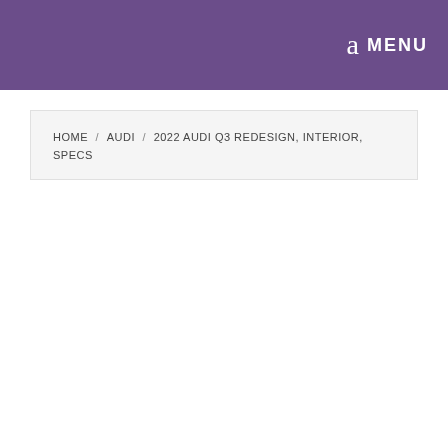a MENU
HOME / AUDI / 2022 AUDI Q3 REDESIGN, INTERIOR, SPECS